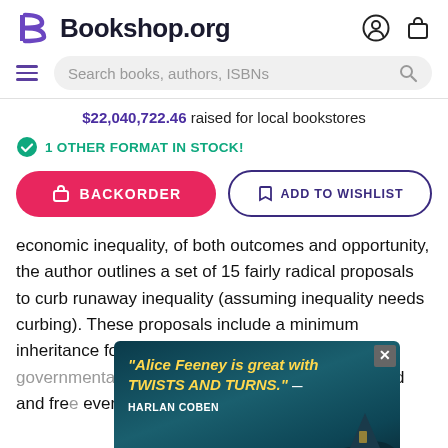Bookshop.org
$22,040,722.46 raised for local bookstores
1 OTHER FORMAT IN STOCK!
BACKORDER
ADD TO WISHLIST
economic inequality, of both outcomes and opportunity, the author outlines a set of 15 fairly radical proposals to curb runaway inequality (assuming inequality needs curbing). These proposals include a minimum inheritance for all, a global tax on wealth, and a governmental role in influencing ... away from th... bold and fre... ever being a... is
[Figure (screenshot): Advertisement overlay showing text: "Alice Feeney is great with TWISTS AND TURNS." — HARLAN COBEN, with a dark coastal landscape background]